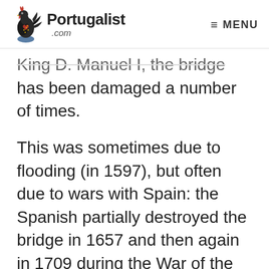Portugalist .com | MENU
King D. Manuel I, the bridge has been damaged a number of times.
This was sometimes due to flooding (in 1597), but often due to wars with Spain: the Spanish partially destroyed the bridge in 1657 and then again in 1709 during the War of the Spanish Succession.